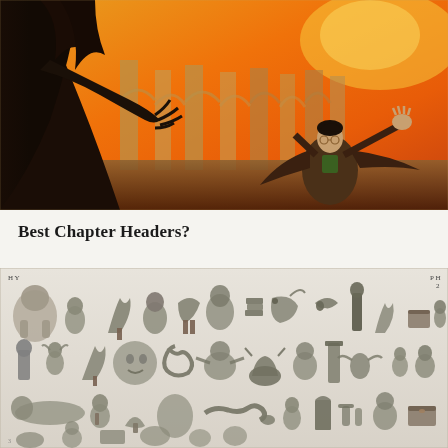[Figure (illustration): Fantasy book cover illustration showing a young man with glasses and dark hair (Harry Potter) with arms outstretched, facing a dark cloaked figure with clawed hands, set against an orange fiery sky with arched stone ruins in the background.]
Best Chapter Headers?
[Figure (illustration): A large grid/sheet of small black-and-white sketch illustrations showing many fantasy characters, creatures, and objects arranged in rows — chapter header vignettes from a Harry Potter book, drawn in pencil or ink style.]